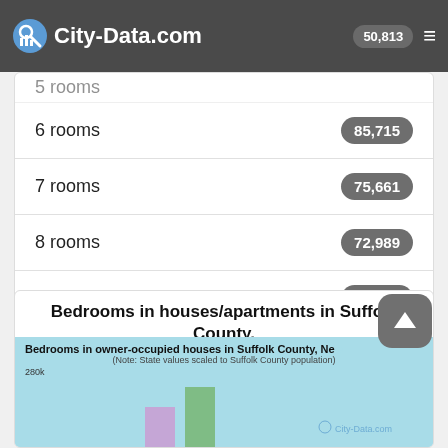City-Data.com
| Room type | Value |
| --- | --- |
| 5 rooms | 50,813 |
| 6 rooms | 85,715 |
| 7 rooms | 75,661 |
| 8 rooms | 72,989 |
| 9+ rooms | 83,975 |
Bedrooms in houses/apartments in Suffolk County, New York
Owner-occupied | Renter-occupied
[Figure (bar-chart): Bar chart preview showing bedroom counts in owner-occupied houses in Suffolk County. Note: State values scaled to Suffolk County population. Y-axis shows 280k. Partially visible bars shown.]